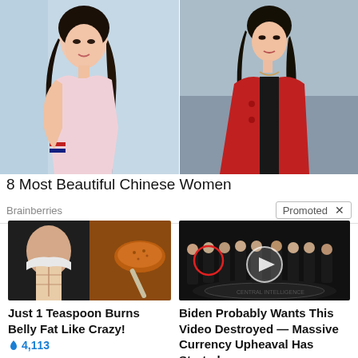[Figure (photo): Two young Asian women in a split photo. Left woman wears a pink top; right woman wears a red jacket.]
8 Most Beautiful Chinese Women
Brainberries
Promoted ×
[Figure (photo): Woman with muscular abs next to a spoonful of spice/powder.]
Just 1 Teaspoon Burns Belly Fat Like Crazy!
🔥 4,113
[Figure (photo): Group of men in suits standing in a formal setting, CIA logo on floor. One man circled in red, play button overlay.]
Biden Probably Wants This Video Destroyed — Massive Currency Upheaval Has Started
🔥 181,485